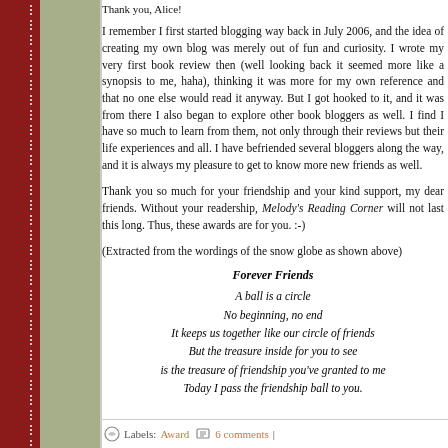Thank you, Alice!
I remember I first started blogging way back in July 2006, and the idea of creating my own blog was merely out of fun and curiosity. I wrote my very first book review then (well looking back it seemed more like a synopsis to me, haha), thinking it was more for my own reference and that no one else would read it anyway. But I got hooked to it, and it was from there I also began to explore other book bloggers as well. I find I have so much to learn from them, not only through their reviews but their life experiences and all. I have befriended several bloggers along the way, and it is always my pleasure to get to know more new friends as well.
Thank you so much for your friendship and your kind support, my dear friends. Without your readership, Melody's Reading Corner will not last this long. Thus, these awards are for you. :-)
(Extracted from the wordings of the snow globe as shown above)
Forever Friends
A ball is a circle
No beginning, no end
It keeps us together like our circle of friends
But the treasure inside for you to see
is the treasure of friendship you've granted to me
Today I pass the friendship ball to you.
Labels: Award  6 comments |